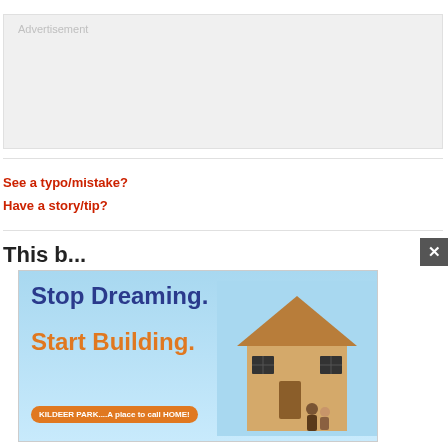[Figure (other): Gray advertisement placeholder box with 'Advertisement' label text in light gray]
See a typo/mistake?
Have a story/tip?
This b...
[Figure (infographic): Banner ad: 'Stop Dreaming. Start Building.' with house under construction image and 'KILDEER PARK....A place to call HOME!' badge]